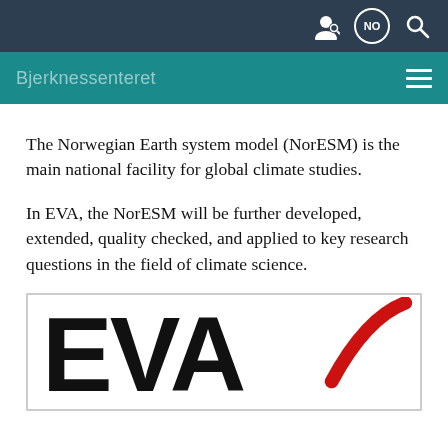Bjerknessenteret
The Norwegian Earth system model (NorESM) is the main national facility for global climate studies.
In EVA, the NorESM will be further developed, extended, quality checked, and applied to key research questions in the field of climate science.
[Figure (logo): EVA logo with large bold black text 'EVA' and a red diagonal swoosh/checkmark element to the right]